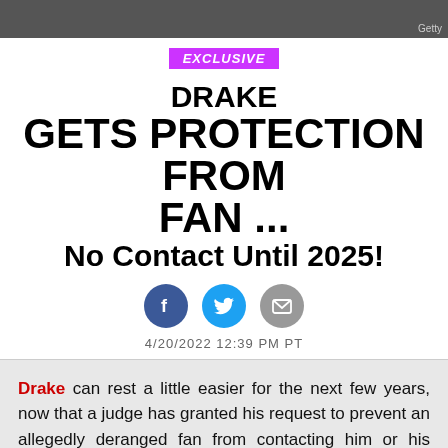[Figure (photo): Dark photo bar at top of page with Getty watermark]
Getty
EXCLUSIVE
DRAKE
GETS PROTECTION FROM FAN ...
No Contact Until 2025!
[Figure (infographic): Social share icons: Facebook, Twitter, Email]
4/20/2022 12:39 PM PT
Drake can rest a little easier for the next few years, now that a judge has granted his request to prevent an allegedly deranged fan from contacting him or his family.